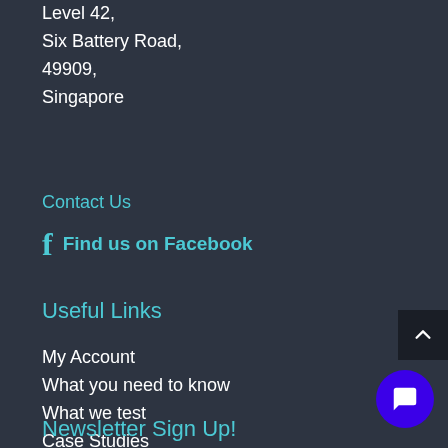Level 42,
Six Battery Road,
49909,
Singapore
Contact Us
Find us on Facebook
Useful Links
My Account
What you need to know
What we test
Case Studies
FAQs
Privacy Policy
Terms & Conditions
Newsletter Sign Up!